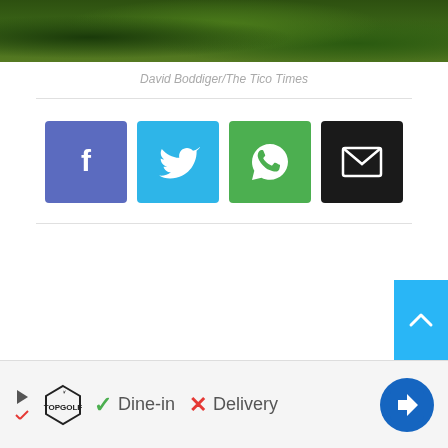[Figure (photo): Landscape photo strip showing green foliage and vegetation, partially cropped at top of page]
David Boddiger/The Tico Times
[Figure (infographic): Social media share buttons row: Facebook (blue-purple), Twitter (light blue), WhatsApp (green), Email (black)]
[Figure (infographic): Advertisement banner showing Topgolf logo with play and X icons, checkmark Dine-in, X Delivery, and blue navigation arrow icon]